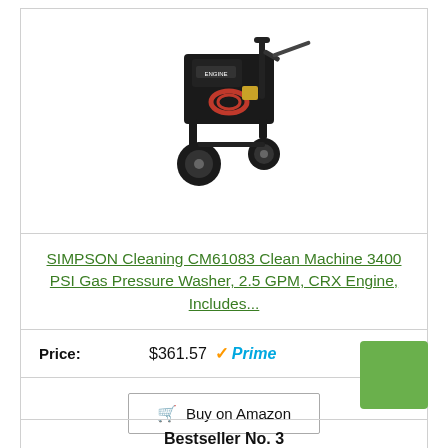[Figure (photo): Product photo of SIMPSON Cleaning CM61083 gas pressure washer on wheels, black and red, with engine and hose]
SIMPSON Cleaning CM61083 Clean Machine 3400 PSI Gas Pressure Washer, 2.5 GPM, CRX Engine, Includes...
Price: $361.57 Prime
Buy on Amazon
Bestseller No. 3